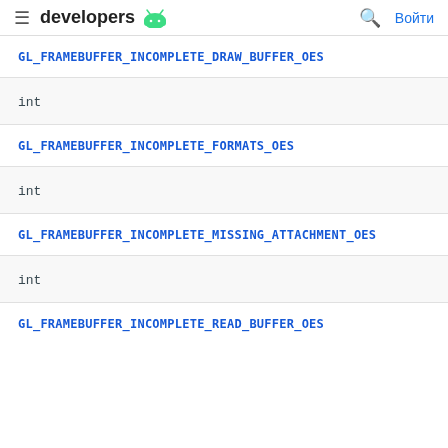developers
GL_FRAMEBUFFER_INCOMPLETE_DRAW_BUFFER_OES
int
GL_FRAMEBUFFER_INCOMPLETE_FORMATS_OES
int
GL_FRAMEBUFFER_INCOMPLETE_MISSING_ATTACHMENT_OES
int
GL_FRAMEBUFFER_INCOMPLETE_READ_BUFFER_OES